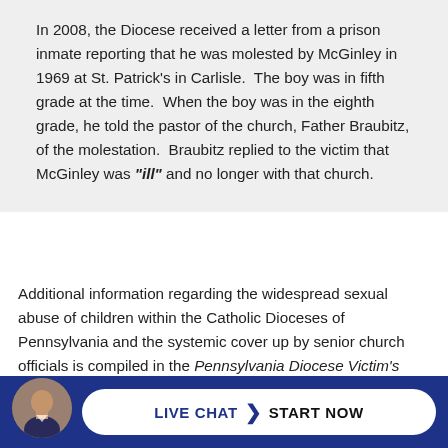In 2008, the Diocese received a letter from a prison inmate reporting that he was molested by McGinley in 1969 at St. Patrick’s in Carlisle. The boy was in fifth grade at the time. When the boy was in the eighth grade, he told the pastor of the church, Father Braubitz, of the molestation. Braubitz replied to the victim that McGinley was “ill” and no longer with that church.
Additional information regarding the widespread sexual abuse of children within the Catholic Dioceses of Pennsylvania and the systemic cover up by senior church officials is compiled in the Pennsylvania Diocese Victim’s Report published by the Pennsylvania Attorney General following a two-year grand jury investigation. A complete copy of the Report is available on the Pennsyl… …tor…
[Figure (other): Live chat widget bar with circular avatar photo of a man, and a white pill-shaped button reading LIVE CHAT > START NOW on a dark blue background]